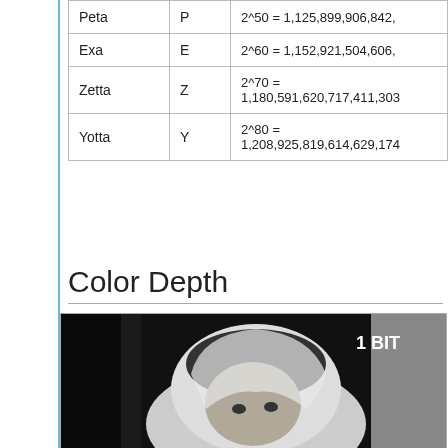| Name | Symbol | Value |
| --- | --- | --- |
| Peta | P | 2^50 = 1,125,899,906,842,… |
| Exa | E | 2^60 = 1,152,921,504,606,… |
| Zetta | Z | 2^70 = 1,180,591,620,717,411,303… |
| Yotta | Y | 2^80 = 1,208,925,819,614,629,174… |
Color Depth
[Figure (photo): Black and white photograph of a child wearing a hooded white knit hat/towel, labeled '1 BIT' in the upper right corner]